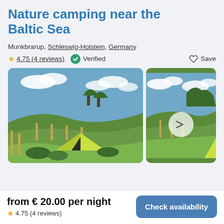Nature camping near the Baltic Sea
Munkbrarup, Schleswig-Holstein, Germany
4.75 (4 reviews)  Verified  Save
[Figure (photo): Two outdoor nature camping photos: left shows a green tent in a field with wooden fence posts and rolling green hills; right shows a similar camping field view with a navigation arrow circle overlay and another tent visible.]
from € 20.00 per night
4.75 (4 reviews)
Check availability